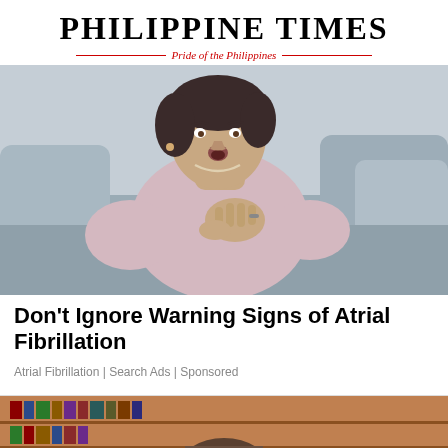Philippine Times — Pride of the Philippines
[Figure (photo): Middle-aged woman sitting on a sofa, hand on chest, appearing to experience heart discomfort or difficulty breathing]
Don't Ignore Warning Signs of Atrial Fibrillation
Atrial Fibrillation | Search Ads | Sponsored
[Figure (photo): Partial view of a person in a library or study setting, cropped at bottom of page]